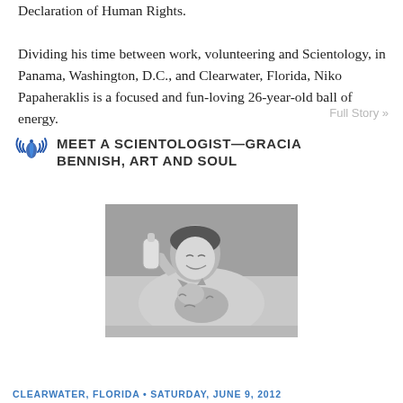Declaration of Human Rights. Dividing his time between work, volunteering and Scientology, in Panama, Washington, D.C., and Clearwater, Florida, Niko Papaheraklis is a focused and fun-loving 26-year-old ball of energy.
Full Story »
MEET A SCIENTOLOGIST—GRACIA BENNISH, ART AND SOUL
[Figure (photo): Black and white photo of a woman smiling and holding/bottle-feeding a tiger cub outdoors on grass]
CLEARWATER, FLORIDA • SATURDAY, JUNE 9, 2012